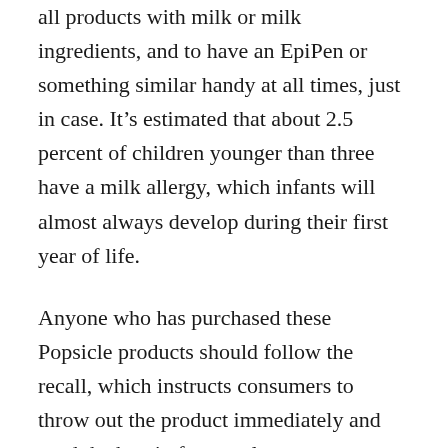all products with milk or milk ingredients, and to have an EpiPen or something similar handy at all times, just in case. It's estimated that about 2.5 percent of children younger than three have a milk allergy, which infants will almost always develop during their first year of life.
Anyone who has purchased these Popsicle products should follow the recall, which instructs consumers to throw out the product immediately and send the box in for a replacement coupon. If your child, or anyone else in the home, has a food allergy and has become sick because they consumed a product containing an ingredient not listed on the label,